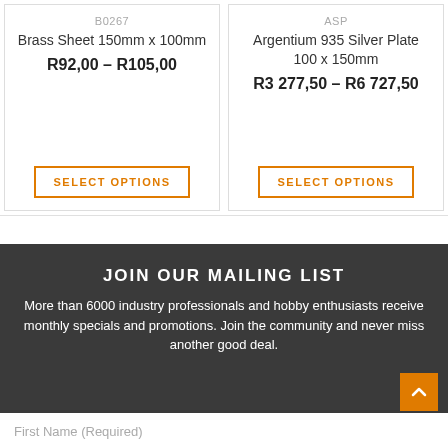B0267
Brass Sheet 150mm x 100mm
R92,00 – R105,00
SELECT OPTIONS
ASP
Argentium 935 Silver Plate 100 x 150mm
R3 277,50 – R6 727,50
SELECT OPTIONS
JOIN OUR MAILING LIST
More than 6000 industry professionals and hobby enthusiasts receive monthly specials and promotions. Join the community and never miss another good deal.
First Name (Required)